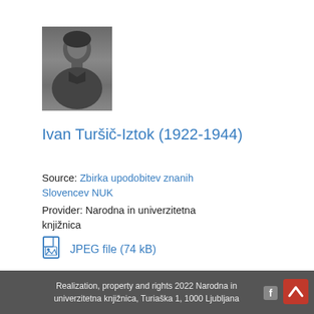[Figure (photo): Black and white portrait photograph of Ivan Turšič-Iztok, a young man in military-style clothing]
Ivan Turšič-Iztok (1922-1944)
Source: Zbirka upodobitev znanih Slovencev NUK
Provider: Narodna in univerzitetna knjižnica
JPEG file (74 kB)
Realization, property and rights 2022 Narodna in univerzitetna knjižnica, Turiaška 1, 1000 Ljubljana